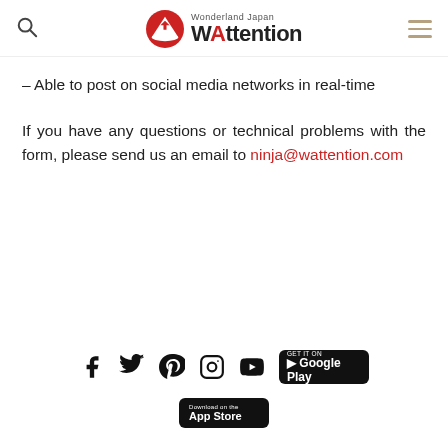Wonderland Japan WAttention
– Able to post on social media networks in real-time
If you have any questions or technical problems with the form, please send us an email to ninja@wattention.com
Social icons: Facebook, Twitter, Pinterest, Instagram, YouTube, Google Play, App Store